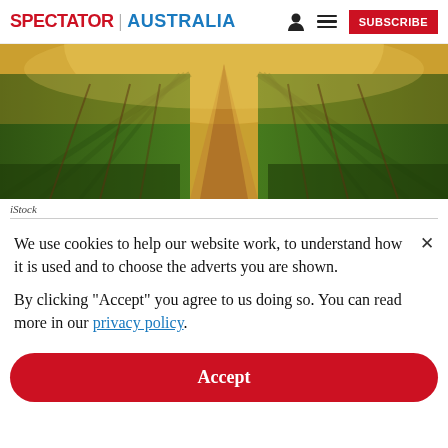SPECTATOR | AUSTRALIA
[Figure (photo): Aerial/ground-level view of vineyard rows with golden sunset light illuminating the vines]
iStock
We use cookies to help our website work, to understand how it is used and to choose the adverts you are shown.
By clicking "Accept" you agree to us doing so. You can read more in our privacy policy.
Accept